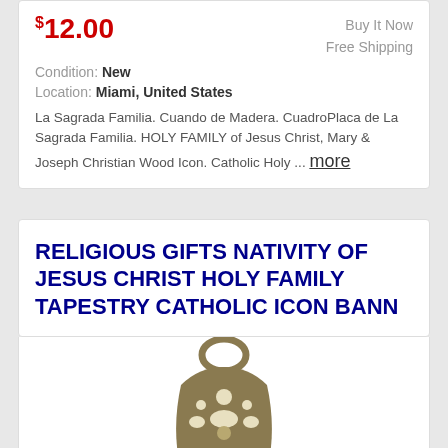$12.00
Buy It Now
Free Shipping
Condition: New
Location: Miami, United States
La Sagrada Familia. Cuando de Madera. CuadroPlaca de La Sagrada Familia. HOLY FAMILY of Jesus Christ, Mary & Joseph Christian Wood Icon. Catholic Holy ... more
RELIGIOUS GIFTS NATIVITY OF JESUS CHRIST HOLY FAMILY TAPESTRY CATHOLIC ICON BANN
[Figure (photo): A decorative religious metal pendant/keychain with ornate metalwork at top and a tapestry scene of the Nativity at the bottom, shown against a white background.]